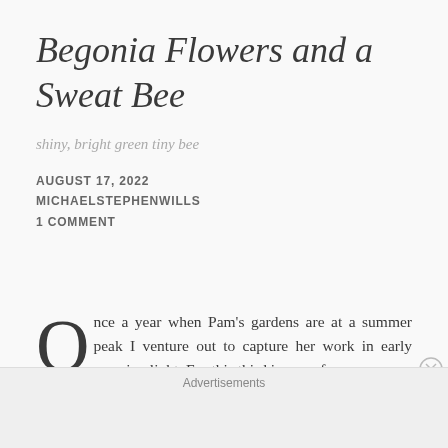Begonia Flowers and a Sweat Bee
shiny, bright green tiny bee
AUGUST 17, 2022
MICHAELSTEPHENWILLS
1 COMMENT
Once a year when Pam's gardens are at a summer peak I venture out to capture her work in early morning light. For this third image of
Advertisements